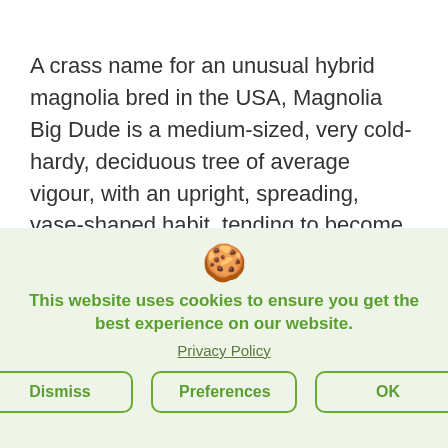A crass name for an unusual hybrid magnolia bred in the USA, Magnolia Big Dude is a medium-sized, very cold-hardy, deciduous tree of average vigour, with an upright, spreading, vase-shaped habit, tending to become multi-stemmed over time. The mid-green leaves have paler undersides. In spring, before the tree comes into leaf, the plant carries huge, tulip-shaped, lightly fragrant, pink flowers flushed purple, paler pink inside. These are so large that the flowers flop over and hang down, allowing a view of the fascinating inside of the flower. The flowers are followed by cone-shaped crimson-pink fruits. Magnolia Big Dude needs minimal pruning; prune at midsummer only if
This website uses cookies to ensure you get the best experience on our website.
Privacy Policy
Dismiss | Preferences | OK